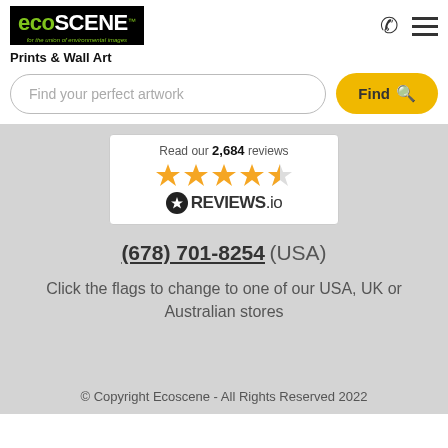[Figure (logo): EcoScene logo - black background with green 'eco' and white 'SCENE' text, green tagline below]
Prints & Wall Art
Find your perfect artwork
Find
[Figure (infographic): Reviews.io widget showing 'Read our 2,684 reviews' with 4.5 orange stars and Reviews.io logo]
(678) 701-8254 (USA)
Click the flags to change to one of our USA, UK or Australian stores
© Copyright Ecoscene - All Rights Reserved 2022